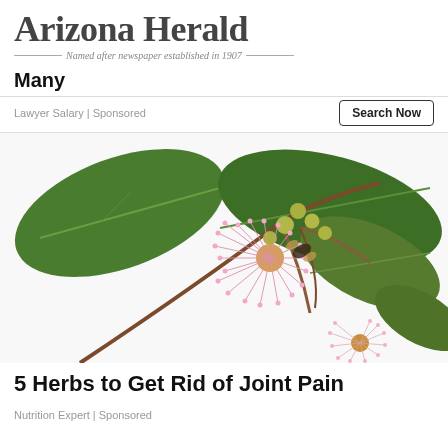Arizona Herald — Named after newspaper established in 1907 —
Many
Lawyer Salary | Sponsored
Search Now
[Figure (photo): A eucalyptus branch with large green leaves, pink feathery flowers and round green buds on a white background.]
5 Herbs to Get Rid of Joint Pain
Nutrition Expert | Sponsored